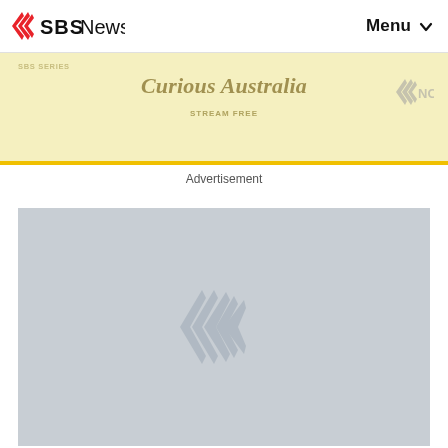SBS News | Menu
[Figure (screenshot): SBS 'Curious Australia' advertisement banner with yellow background and SBS/NITV logos]
Advertisement
[Figure (photo): Large light grey image placeholder with faint SBS logo watermark in the center]